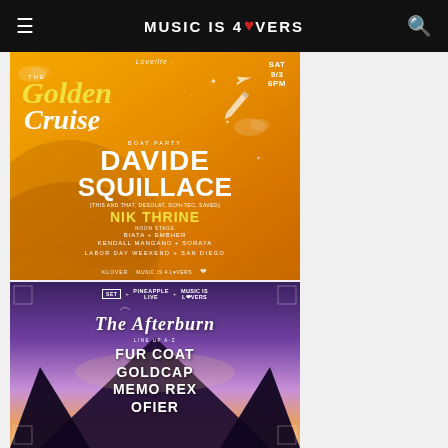MUSIC IS 4 LOVERS
[Figure (photo): Golden Cruise Boat Party event flyer with orange background featuring Davide Squillace and Nik Thrine, Labor Day Weekend, San Diego, SAT 9/3 6PM]
[Figure (photo): The Afterburn event flyer with purple/sunset tent background featuring Fur Coat, Goldcap, Memo Rex, Ofier lineup A-Z]